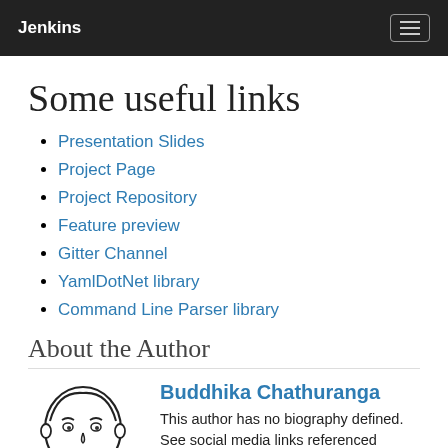Jenkins
Some useful links
Presentation Slides
Project Page
Project Repository
Feature preview
Gitter Channel
YamlDotNet library
Command Line Parser library
About the Author
[Figure (illustration): Jenkins mascot - cartoon of a butler figure with bow tie]
Buddhika Chathuranga
This author has no biography defined. See social media links referenced below.
GitHub